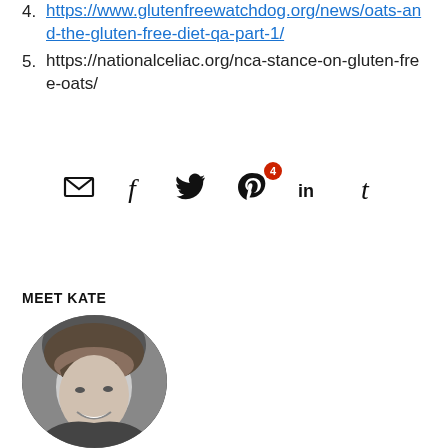4. https://www.glutenfreewatchdog.org/news/oats-and-the-gluten-free-diet-qa-part-1/
5. https://nationalceliac.org/nca-stance-on-gluten-free-oats/
[Figure (infographic): Social sharing icons: email (envelope), Facebook (f), Twitter (bird), Pinterest (p) with red badge showing 4, LinkedIn (in), Tumblr (t)]
MEET KATE
[Figure (photo): Circular black and white headshot photo of Kate, a woman with bangs smiling]